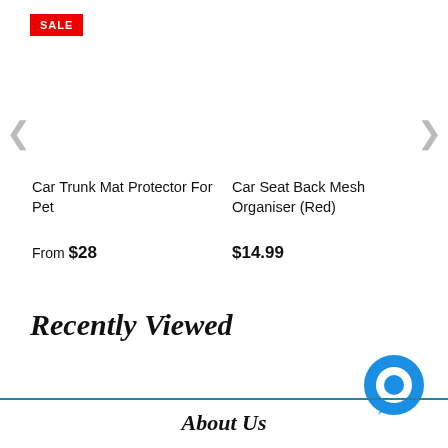[Figure (other): Red SALE badge/label in top left corner]
Car Trunk Mat Protector For Pet
From $28
Car Seat Back Mesh Organiser (Red)
$14.99
Recently Viewed
[Figure (illustration): Blue circular chat/messaging bubble icon]
About Us